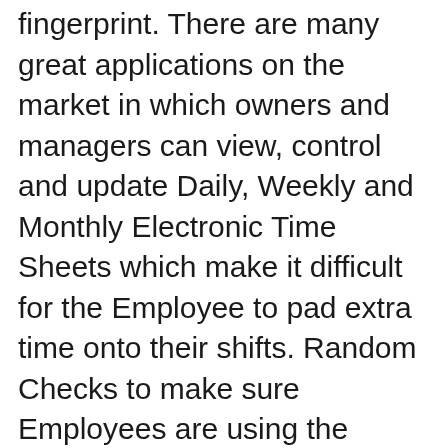fingerprint. There are many great applications on the market in which owners and managers can view, control and update Daily, Weekly and Monthly Electronic Time Sheets which make it difficult for the Employee to pad extra time onto their shifts. Random Checks to make sure Employees are using the system properly without trying to game the system is also important. Here is a great round-up of Time-Card-Software.
Employee Monitoring
When left alone at a computer, its quite easy, and yet often against company rules & policy, to use the computer for